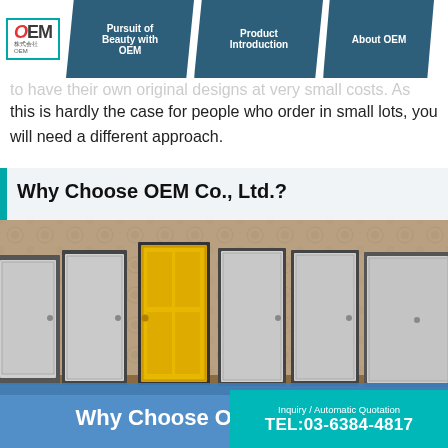OEM Co., Ltd. navigation: Pursuit of Beauty with OEM | Product Introduction | About OEM
to have their own original designs at very small costs. As this is hardly the case for people who order in small lots, you will need a different approach.
Why Choose OEM Co., Ltd.?
[Figure (photo): Image of multiple grey doors and one highlighted yellow/gold door against a patterned wallpaper background, with blue overlay at bottom showing text 'Why Choose OEM Co., Ltd.?']
Inquiry / Automatic Quotation TEL:03-6384-4817